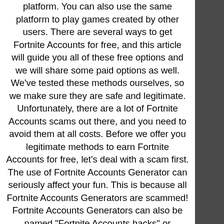platform. You can also use the same platform to play games created by other users. There are several ways to get Fortnite Accounts for free, and this article will guide you all of these free options and we will share some paid options as well. We've tested these methods ourselves, so we make sure they are safe and legitimate. Unfortunately, there are a lot of Fortnite Accounts scams out there, and you need to avoid them at all costs. Before we offer you legitimate methods to earn Fortnite Accounts for free, let's deal with a scam first. The use of Fortnite Accounts Generator can seriously affect your fun. This is because all Fortnite Accounts Generators are scammed! Fortnite Accounts Generators can also be named "Fortnite Accounts hacks" or "Fortnite Accounts clawbacks". It doesn't matter; they're all stinky tricks. These things usually contain malicious features, such as viruses,